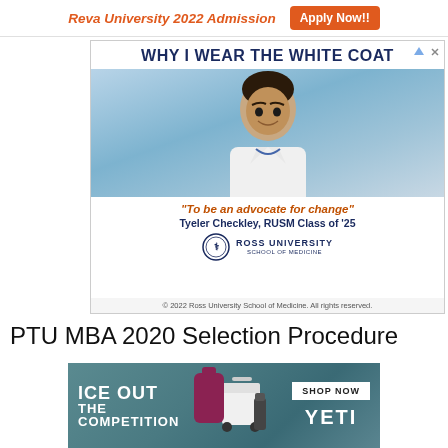[Figure (infographic): Top banner ad for Reva University 2022 Admission with orange 'Apply Now!!' button]
[Figure (infographic): Ross University School of Medicine ad: 'WHY I WEAR THE WHITE COAT' with photo of student in white coat, quote 'To be an advocate for change' by Tyeler Checkley, RUSM Class of '25, with Ross University logo and copyright notice]
PTU MBA 2020 Selection Procedure
[Figure (infographic): YETI advertisement: 'ICE OUT THE COMPETITION' with YETI branded coolers and bags, 'SHOP NOW' button and YETI brand name on teal background]